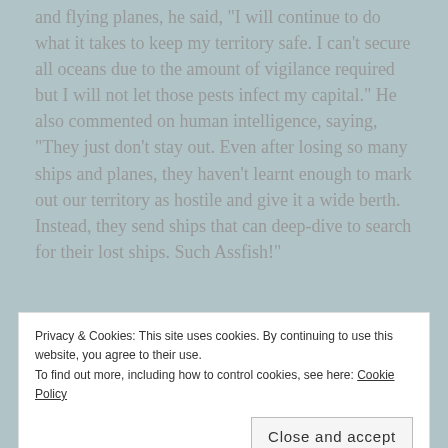and flying planes, he said, "I will continue to do what it takes to keep my territory safe. I can't secure all oceans due to the amount of vigilance required but I will not let those pests infect my capital." He also commented on human intelligence, saying, "They just don't stay out. Even after losing so many ships and planes, they haven't learnt enough to mark out our territory as hostile and give it a wide berth. Instead, they send ships that can deep-dive to search for their lost ships. Such Assfish!"
[Figure (other): WordPress advertisement banner: 'Professionally designed sites in less than a week' with WordPress logo]
Privacy & Cookies: This site uses cookies. By continuing to use this website, you agree to their use.
To find out more, including how to control cookies, see here: Cookie Policy
Close and accept
the 'enemy' and threatened to use his trident on us,